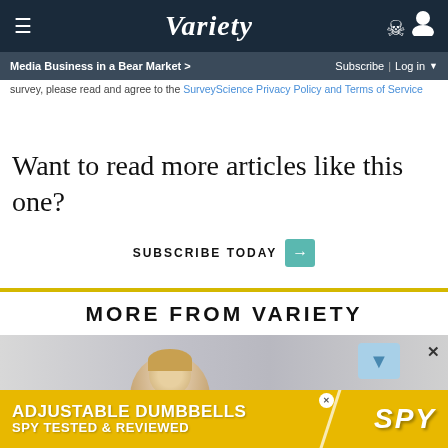VARIETY | Media Business in a Bear Market > | Subscribe | Log in
survey, please read and agree to the SurveyScience Privacy Policy and Terms of Service
Want to read more articles like this one?
SUBSCRIBE TODAY →
MORE FROM VARIETY
[Figure (photo): Photo strip showing a person, partially visible, gray background]
ADJUSTABLE DUMBBELLS SPY TESTED & REVIEWED / SPY